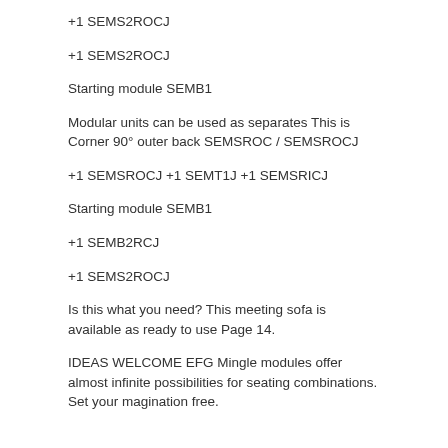+1 SEMS2ROCJ
+1 SEMS2ROCJ
Starting module SEMB1
Modular units can be used as separates This is Corner 90° outer back SEMSROC / SEMSROCJ
+1 SEMSROCJ +1 SEMT1J +1 SEMSRICJ
Starting module SEMB1
+1 SEMB2RCJ
+1 SEMS2ROCJ
Is this what you need? This meeting sofa is available as ready to use Page 14.
IDEAS WELCOME EFG Mingle modules offer almost infinite possibilities for seating combinations. Set your magination free.